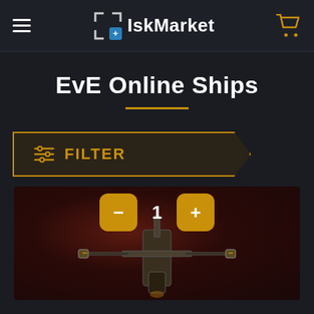IskMarket
EvE Online Ships
FILTER
[Figure (photo): A spaceship from EVE Online game rendered in 3D against a dark reddish background. Quantity controls showing minus button, 1, and plus button overlaid at top.]